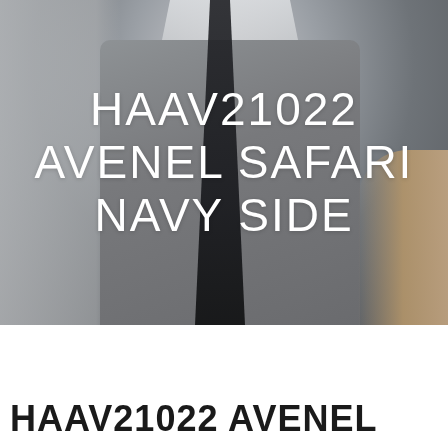[Figure (photo): Photo of a man wearing a grey suit vest, white shirt, and dark navy tie, with text overlay reading HAAV21022 AVENEL SAFARI NAVY SIDE]
HAAV21022 AVENEL SAFARI NAVY SIDE
HAAV21022 AVENEL